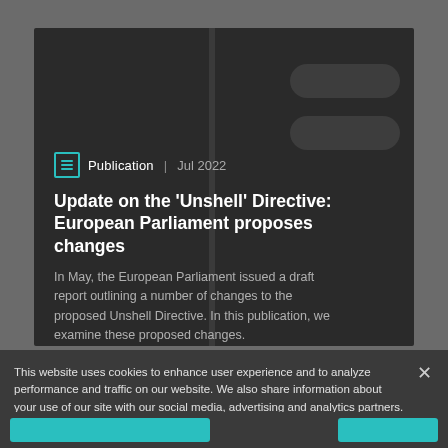Publication | Jul 2022
Update on the 'Unshell' Directive: European Parliament proposes changes
In May, the European Parliament issued a draft report outlining a number of changes to the proposed Unshell Directive. In this publication, we examine these proposed changes.
This website uses cookies to enhance user experience and to analyze performance and traffic on our website. We also share information about your use of our site with our social media, advertising and analytics partners.